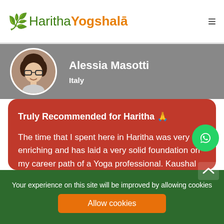[Figure (logo): Haritha Yogshala logo with green leaf icon and two-tone text]
Alessia Masotti
Italy
Truly Recommended for Haritha 🙏
The time that I spent here in Haritha was very enriching and has laid a very solid foundation on my career path of a Yoga professional. Kaushal sir was the best followed by Kapil and Aman sir who were also very good. The staff and management was also very good and up-
Your experience on this site will be improved by allowing cookies
Allow cookies